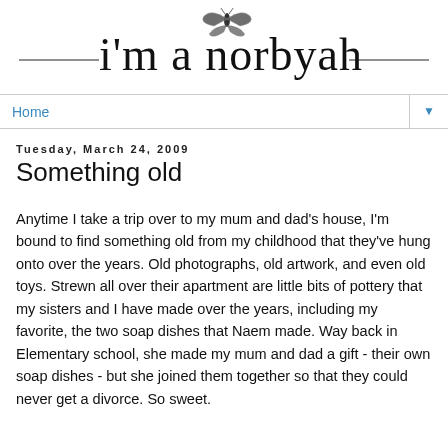[Figure (logo): Cursive script logo reading 'i'm a norbyah' with a butterfly illustration above, decorative horizontal lines on each side]
Home ▼
Tuesday, March 24, 2009
Something old
Anytime I take a trip over to my mum and dad's house, I'm bound to find something old from my childhood that they've hung onto over the years. Old photographs, old artwork, and even old toys. Strewn all over their apartment are little bits of pottery that my sisters and I have made over the years, including my favorite, the two soap dishes that Naem made. Way back in Elementary school, she made my mum and dad a gift - their own soap dishes - but she joined them together so that they could never get a divorce. So sweet.